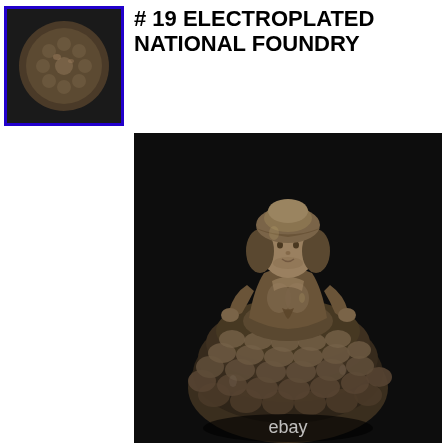[Figure (photo): Small thumbnail photo of a metallic figurine (electroplated) with blue border frame]
# 19 ELECTROPLATED NATIONAL FOUNDRY
[Figure (photo): Large main photo of an electroplated National Foundry figurine of a woman in a large tiered dress with bonnet, metallic bronze/silver finish, on dark background. eBay watermark visible.]